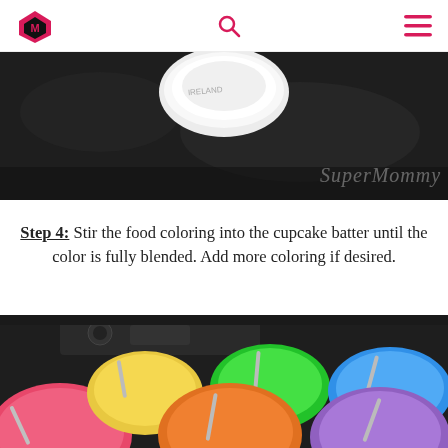SuperMommy blog header with logo, search and menu icons
[Figure (photo): Top portion of a photo showing a white bowl on a dark granite/black countertop surface with 'SuperMommy' watermark in cursive at bottom right]
Step 4: Stir the food coloring into the cupcake batter until the color is fully blended. Add more coloring if desired.
[Figure (photo): Photo of six white bowls filled with brightly colored cupcake batter in pink, yellow, orange, green, blue, and purple, each with a spoon, arranged on a dark surface in front of a kitchen appliance]